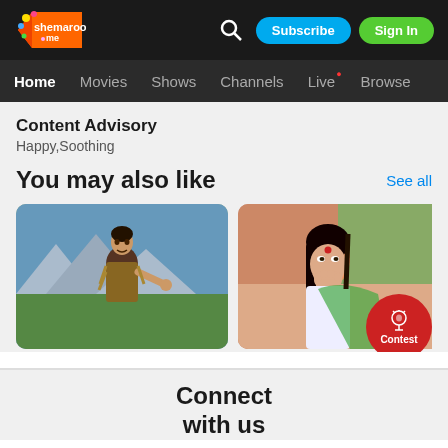shemaroo me
Home | Movies | Shows | Channels | Live | Browse
Content Advisory
Happy,Soothing
You may also like
See all
[Figure (photo): Movie thumbnail showing a man in traditional costume outdoors with mountains in background]
[Figure (photo): Movie thumbnail showing a woman with hand near mouth in a colorful scene]
[Figure (photo): Partially visible third movie thumbnail]
Contest
Connect
with us